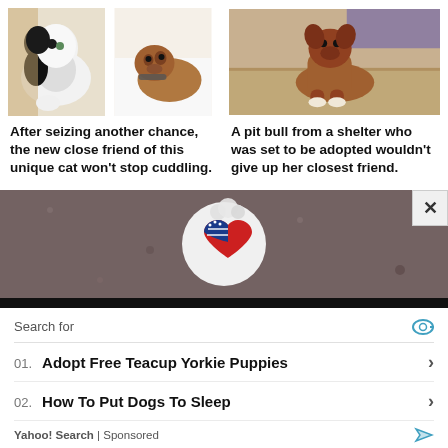[Figure (photo): Two photos side by side: a black and white cat on the left, and a brown dog with a collar lying on white sheets on the right]
After seizing another chance, the new close friend of this unique cat won't stop cuddling.
[Figure (photo): A brown pit bull dog sitting on a floor looking at the camera]
A pit bull from a shelter who was set to be adopted wouldn't give up her closest friend.
[Figure (photo): Advertisement banner showing a circular badge with American flag heart design on a dark textured background]
Search for
01. Adopt Free Teacup Yorkie Puppies
02. How To Put Dogs To Sleep
Yahoo! Search | Sponsored